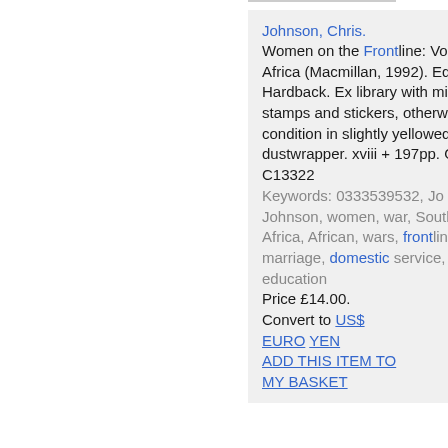Johnson, Chris. Women on the Frontline: Voices from Southern Africa (Macmillan, 1992). Editor: Jo Campling. Hardback. Ex library with minimal library stamps and stickers, otherwise good+ condition in slightly yellowed, slightly soiled dustwrapper. xviii + 197pp. Order No. NSBK-C13322 Keywords: 0333539532, Jo Campling, Chris Johnson, women, war, South Africa, Southern Africa, African, wars, frontline, rural, urban, marriage, domestic service, equality, work education Price £14.00. Convert to US$ EURO YEN ADD THIS ITEM TO MY BASKET